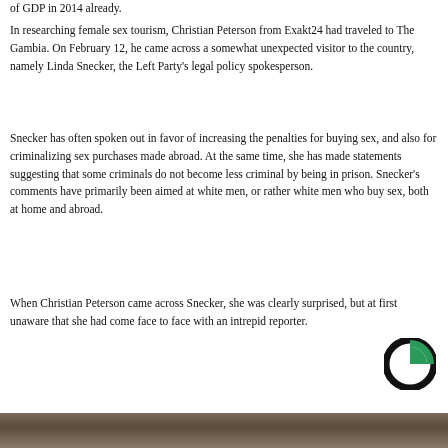of GDP in 2014 already.
In researching female sex tourism, Christian Peterson from Exakt24 had traveled to The Gambia. On February 12, he came across a somewhat unexpected visitor to the country, namely Linda Snecker, the Left Party’s legal policy spokesperson.
Snecker has often spoken out in favor of increasing the penalties for buying sex, and also for criminalizing sex purchases made abroad. At the same time, she has made statements suggesting that some criminals do not become less criminal by being in prison. Snecker’s comments have primarily been aimed at white men, or rather white men who buy sex, both at home and abroad.
When Christian Peterson came across Snecker, she was clearly surprised, but at first unaware that she had come face to face with an intrepid reporter.
[Figure (logo): Circular logo with black ring and green rectangle segment]
[Figure (photo): Partial photo strip at bottom of page]